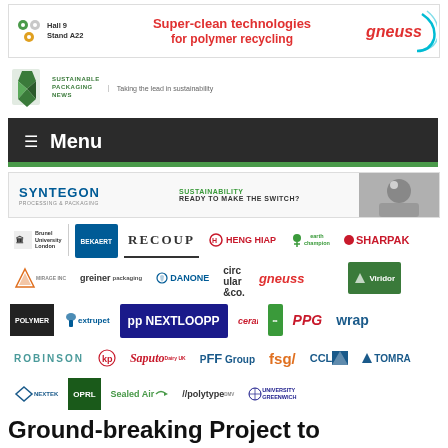[Figure (illustration): Gneuss banner ad: Hall 9 Stand A22, Super-clean technologies for polymer recycling, gneuss logo with cyan arc]
[Figure (logo): Sustainable Packaging News logo with green icon and tagline: Taking the lead in sustainability]
≡ Menu
[Figure (illustration): Syntegon banner ad: Sustainability Ready to Make the Switch? with photo of person]
[Figure (illustration): Sponsor logos grid including Brunel University London, Bekaert, Recoup, Heng Hiap, Earth Champion, Sharpak, Mirage Inc, Greiner Packaging, Danone, Circular&Co, Gneuss, Viridor, Polymer, Extrupet, Nextloopp, Ceramb, Prodtels, PPG, Wrap, Robinson, KP, Saputo Dairy UK, PFF Group, FSG, CCL, Tomra, Nextek, OPRL, Sealed Air, Polytype, University of Greenwich]
Ground-breaking Project to